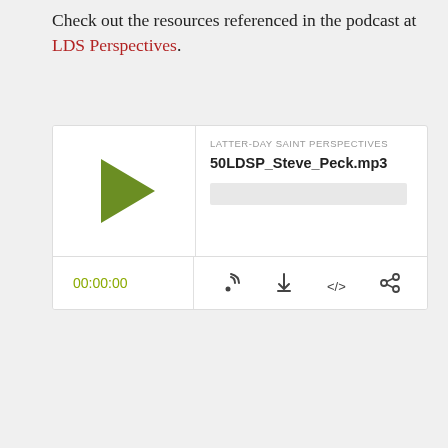Check out the resources referenced in the podcast at LDS Perspectives.
[Figure (screenshot): Audio player widget showing podcast episode '50LDSP_Steve_Peck.mp3' from Latter-Day Saint Perspectives, with play button, progress bar, time display '00:00:00', and control icons for RSS, download, embed, and share.]